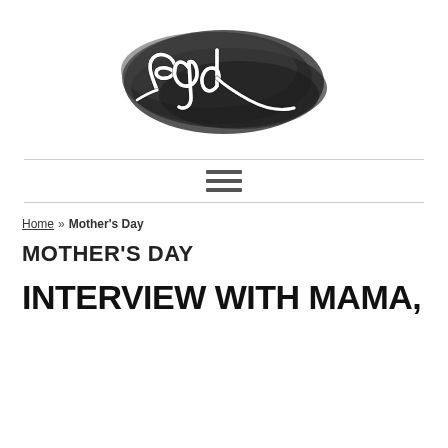[Figure (logo): egd cursive script logo over dark watercolor ink brush stroke background]
Home » Mother's Day
MOTHER'S DAY
INTERVIEW WITH MAMA,